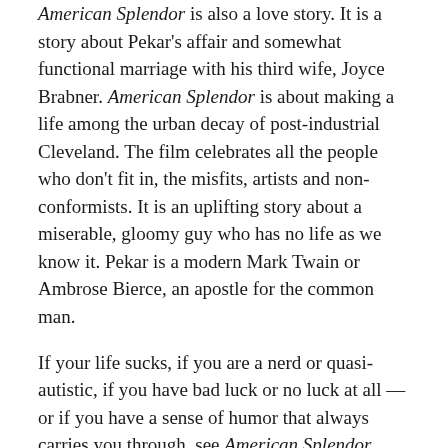American Splendor is also a love story. It is a story about Pekar's affair and somewhat functional marriage with his third wife, Joyce Brabner. American Splendor is about making a life among the urban decay of post-industrial Cleveland. The film celebrates all the people who don't fit in, the misfits, artists and non-conformists. It is an uplifting story about a miserable, gloomy guy who has no life as we know it. Pekar is a modern Mark Twain or Ambrose Bierce, an apostle for the common man.
If your life sucks, if you are a nerd or quasi-autistic, if you have bad luck or no luck at all — or if you have a sense of humor that always carries you through, see American Splendor.
American Spendor (IMDB)
American Spendor (wikipedia)
American Spendor (Rotten Tomatoes)